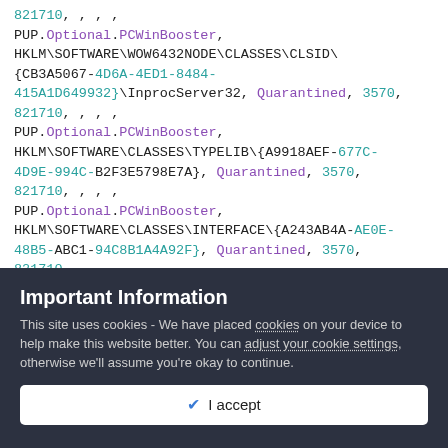PUP.Optional.PCWinBooster, HKLM\SOFTWARE\WOW6432NODE\CLASSES\CLSID\{CB3A5067-4D6A-4ED1-8484-415A1D649932}\InprocServer32, Quarantined, 3570, 821710, , , ,
PUP.Optional.PCWinBooster, HKLM\SOFTWARE\CLASSES\TYPELIB\{A9918AEF-677C-4D9E-994C-B2F3E5798E7A}, Quarantined, 3570, 821710, , , ,
PUP.Optional.PCWinBooster, HKLM\SOFTWARE\CLASSES\INTERFACE\{A243AB4A-AE0E-48B5-ABC1-94C8B1A4A92F}, Quarantined, 3570, 821710...
Important Information
This site uses cookies - We have placed cookies on your device to help make this website better. You can adjust your cookie settings, otherwise we'll assume you're okay to continue.